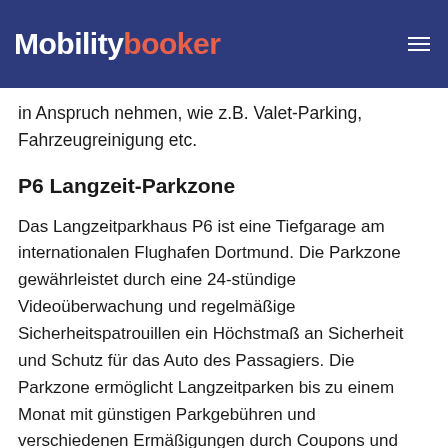Mobilitybooker
Tarifen an, um ein chaosfreies Langzeitparken zu ... können Sie gegen eine geringe Gebühr verschiedene Zusatzleistungen in Anspruch nehmen, wie z.B. Valet-Parking, Fahrzeugreinigung etc.
P6 Langzeit-Parkzone
Das Langzeitparkhaus P6 ist eine Tiefgarage am internationalen Flughafen Dortmund. Die Parkzone gewährleistet durch eine 24-stündige Videoüberwachung und regelmäßige Sicherheitspatrouillen ein Höchstmaß an Sicherheit und Schutz für das Auto des Passagiers. Die Parkzone ermöglicht Langzeitparken bis zu einem Monat mit günstigen Parkgebühren und verschiedenen Ermäßigungen durch Coupons und Codes, insbesondere wenn Sie Ihre Parkplätze im Voraus über die Online-Parkplatzportale des